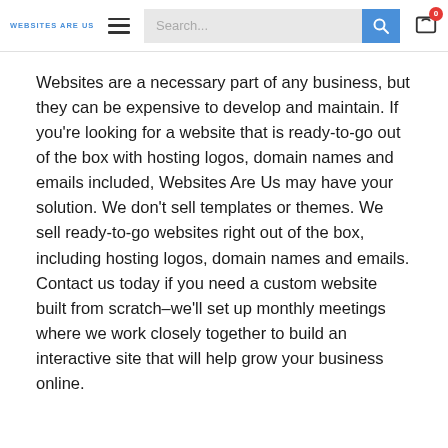WEBSITES ARE US — navigation header with search bar and cart
Websites are a necessary part of any business, but they can be expensive to develop and maintain. If you're looking for a website that is ready-to-go out of the box with hosting logos, domain names and emails included, Websites Are Us may have your solution. We don't sell templates or themes. We sell ready-to-go websites right out of the box, including hosting logos, domain names and emails. Contact us today if you need a custom website built from scratch–we'll set up monthly meetings where we work closely together to build an interactive site that will help grow your business online.